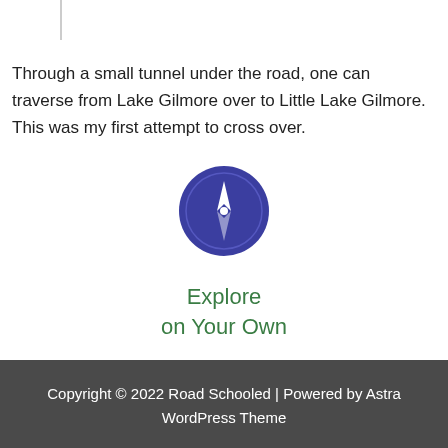Through a small tunnel under the road, one can traverse from Lake Gilmore over to Little Lake Gilmore. This was my first attempt to cross over.
[Figure (illustration): Compass icon — white compass needle on a dark blue/indigo circular background]
Explore on Your Own
Copyright © 2022 Road Schooled | Powered by Astra WordPress Theme